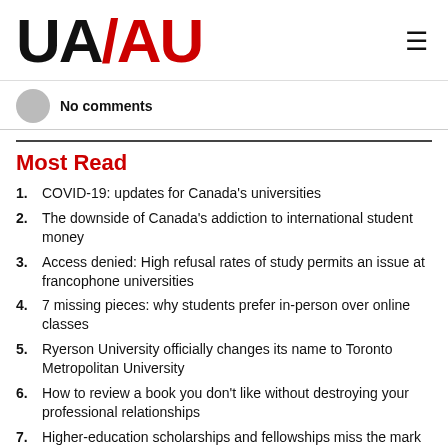UAAU
No comments
Most Read
COVID-19: updates for Canada's universities
The downside of Canada's addiction to international student money
Access denied: High refusal rates of study permits an issue at francophone universities
7 missing pieces: why students prefer in-person over online classes
Ryerson University officially changes its name to Toronto Metropolitan University
How to review a book you don't like without destroying your professional relationships
Higher-education scholarships and fellowships miss the mark by $8,500